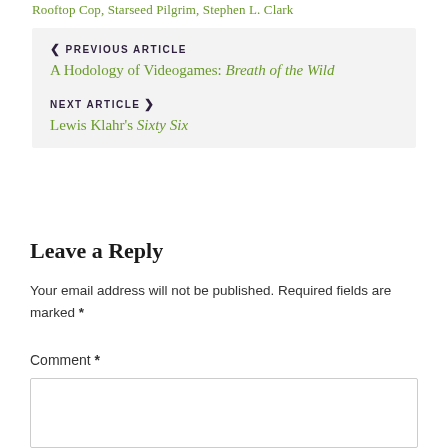Rooftop Cop, Starseed Pilgrim, Stephen L. Clark
❮ PREVIOUS ARTICLE
A Hodology of Videogames: Breath of the Wild
NEXT ARTICLE ❯
Lewis Klahr's Sixty Six
Leave a Reply
Your email address will not be published. Required fields are marked *
Comment *